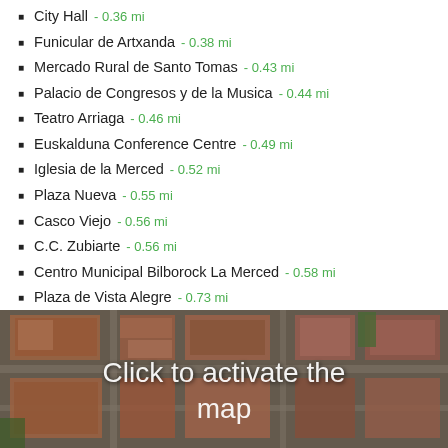City Hall - 0.36 mi
Funicular de Artxanda - 0.38 mi
Mercado Rural de Santo Tomas - 0.43 mi
Palacio de Congresos y de la Musica - 0.44 mi
Teatro Arriaga - 0.46 mi
Euskalduna Conference Centre - 0.49 mi
Iglesia de la Merced - 0.52 mi
Plaza Nueva - 0.55 mi
Casco Viejo - 0.56 mi
C.C. Zubiarte - 0.56 mi
Centro Municipal Bilborock La Merced - 0.58 mi
Plaza de Vista Alegre - 0.73 mi
Plaza del Sagrado Corazon - 0.74 mi
Feria del Libro - 0.78 mi
[Figure (photo): Aerial satellite view of a city block with the overlay text 'Click to activate the map']